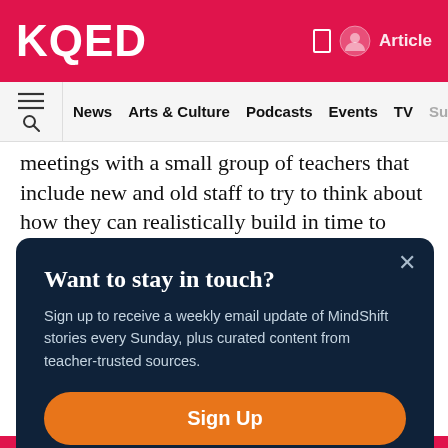KQED
News  Arts & Culture  Podcasts  Events  TV  Support
meetings with a small group of teachers that include new and old staff to try to think about how they can realistically build in time to make connections with kids outside of academic spaces.
Want to stay in touch?
Sign up to receive a weekly email update of MindShift stories every Sunday, plus curated content from teacher-trusted sources.
Sign Up